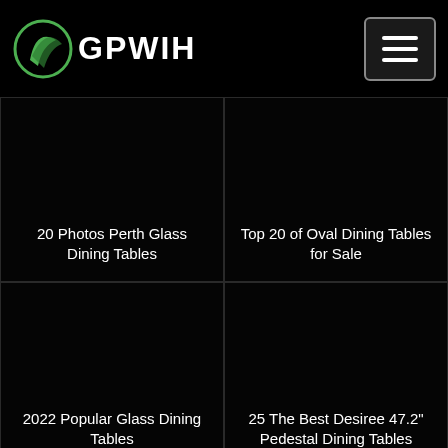GPWIH
[Figure (screenshot): Dark image card with text: 20 Photos Perth Glass Dining Tables]
[Figure (screenshot): Dark image card with text: Top 20 of Oval Dining Tables for Sale]
[Figure (screenshot): Dark image card with text: 2022 Popular Glass Dining Tables]
[Figure (screenshot): Dark image card with text: 25 The Best Desiree 47.2" Pedestal Dining Tables]
[Figure (screenshot): Dark image card (bottom left, partial)]
[Figure (screenshot): Dark image card (bottom right, partial)]